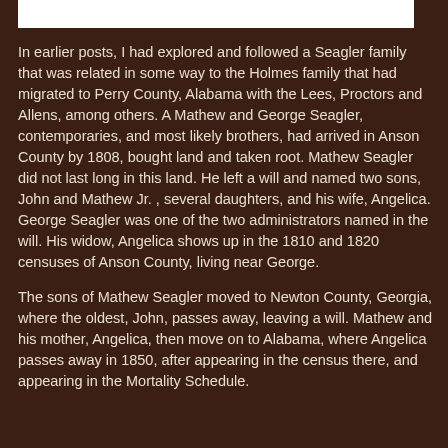In earlier posts, I had explored and followed a Seagler family that was related in some way to the Holmes family that had migrated to Perry County, Alabama with the Lees, Proctors and Allens, among others. A Mathew and George Seagler, contemporaries, and most likely brothers, had arrived in Anson County by 1808, bought land and taken root. Mathew Seagler did not last long in this land. He left a will and named two sons, John and Mathew Jr. , several daughters, and his wife, Angelica. George Seagler was one of the two administrators named in the will. His widow, Angelica shows up in the 1810 and 1820 censuses of Anson County, living near George.
The sons of Mathew Seagler moved to Newton County, Georgia, where the oldest, John, passes away, leaving a will. Mathew and his mother, Angelica, then move on to Alabama, where Angelica passes away in 1850, after appearing in the census there, and appearing in the Mortality Schedule.